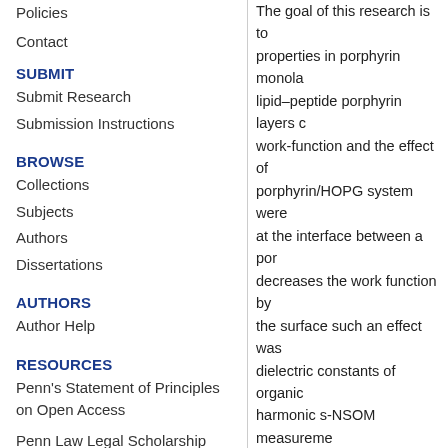Policies
Contact
SUBMIT
Submit Research
Submission Instructions
BROWSE
Collections
Subjects
Authors
Dissertations
AUTHORS
Author Help
RESOURCES
Penn's Statement of Principles on Open Access
Penn Law Legal Scholarship Repository
Research Data and Digital Scholarship at Penn
The goal of this research is to properties in porphyrin monola lipid–peptide porphyrin layers c work-function and the effect of porphyrin/HOPG system were at the interface between a por decreases the work function by the surface such an effect was dielectric constants of organic harmonic s-NSOM measureme modeling of s-NSOM contrast the determination of real part d properly calibrated. Finally a te samples was developed. In thi for electrical measurements. E grounded tips were measured. heme films with high spatial re
Subject Area
Materials science
Recommended Citatio